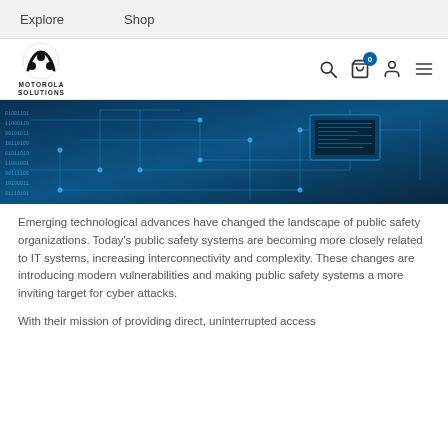Explore   Shop
[Figure (logo): Motorola Solutions logo with circular M symbol]
[Figure (photo): Blue-tinted close-up photo of a circuit board with glowing digital code overlay]
Emerging technological advances have changed the landscape of public safety organizations. Today's public safety systems are becoming more closely related to IT systems, increasing interconnectivity and complexity. These changes are introducing modern vulnerabilities and making public safety systems a more inviting target for cyber attacks.
With their mission of providing direct, uninterrupted access